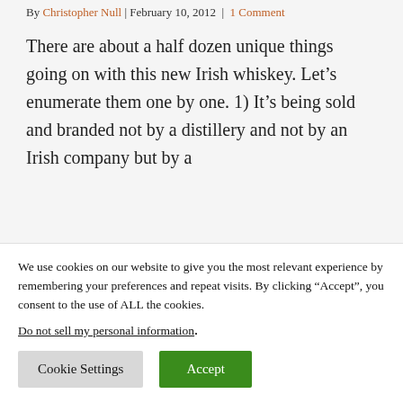By Christopher Null | February 10, 2012 | 1 Comment
There are about a half dozen unique things going on with this new Irish whiskey. Let’s enumerate them one by one. 1) It’s being sold and branded not by a distillery and not by an Irish company but by a
We use cookies on our website to give you the most relevant experience by remembering your preferences and repeat visits. By clicking “Accept”, you consent to the use of ALL the cookies.
Do not sell my personal information.